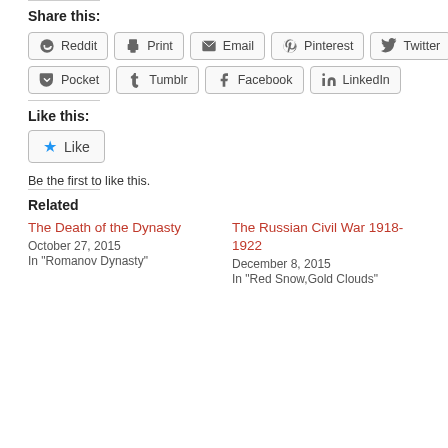Share this:
Reddit | Print | Email | Pinterest | Twitter
Pocket | Tumblr | Facebook | LinkedIn
Like this:
Like
Be the first to like this.
Related
The Death of the Dynasty
October 27, 2015
In "Romanov Dynasty"
The Russian Civil War 1918-1922
December 8, 2015
In "Red Snow,Gold Clouds"